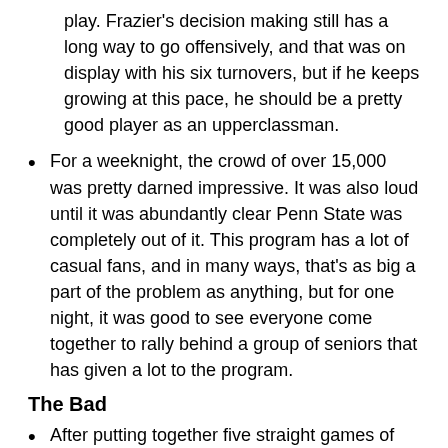play. Frazier's decision making still has a long way to go offensively, and that was on display with his six turnovers, but if he keeps growing at this pace, he should be a pretty good player as an upperclassman.
For a weeknight, the crowd of over 15,000 was pretty darned impressive. It was also loud until it was abundantly clear Penn State was completely out of it. This program has a lot of casual fans, and in many ways, that's as big a part of the problem as anything, but for one night, it was good to see everyone come together to rally behind a group of seniors that has given a lot to the program.
The Bad
After putting together five straight games of single